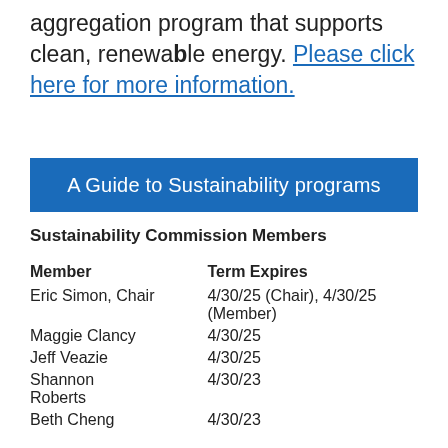aggregation program that supports clean, renewable energy. Please click here for more information.
A Guide to Sustainability programs
Sustainability Commission Members
| Member | Term Expires |
| --- | --- |
| Eric Simon, Chair | 4/30/25 (Chair), 4/30/25 (Member) |
| Maggie Clancy | 4/30/25 |
| Jeff Veazie | 4/30/25 |
| Shannon Roberts | 4/30/23 |
| Beth Cheng | 4/30/23 |